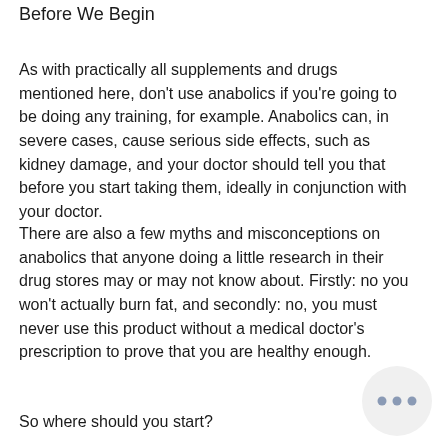Before We Begin
As with practically all supplements and drugs mentioned here, don't use anabolics if you're going to be doing any training, for example. Anabolics can, in severe cases, cause serious side effects, such as kidney damage, and your doctor should tell you that before you start taking them, ideally in conjunction with your doctor.
There are also a few myths and misconceptions on anabolics that anyone doing a little research in their drug stores may or may not know about. Firstly: no you won't actually burn fat, and secondly: no, you must never use this product without a medical doctor's prescription to prove that you are healthy enough.
So where should you start?